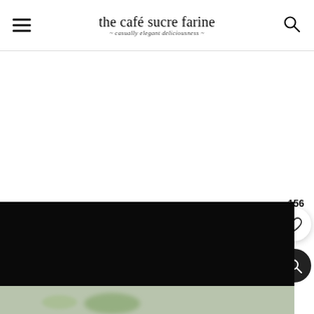the café sucre farine — casually elegant deliciousness
[Figure (photo): Food photography: dark background with blurred green and light-colored food items in lower portion]
156